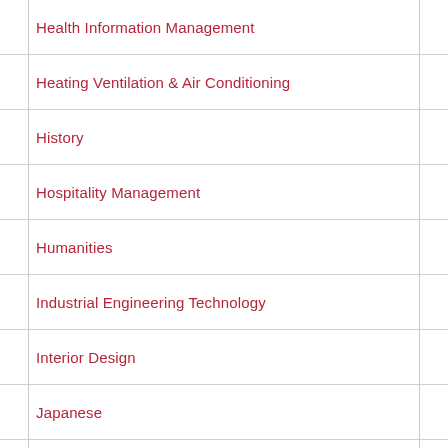Health Information Management
Heating Ventilation & Air Conditioning
History
Hospitality Management
Humanities
Industrial Engineering Technology
Interior Design
Japanese
Journalism
Law